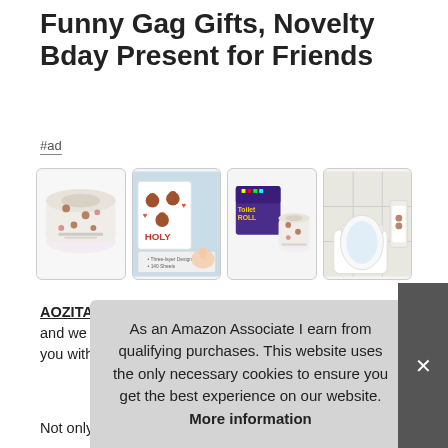Funny Gag Gifts, Novelty Bday Present for Friends
#ad
[Figure (photo): Four product images of novelty printed toilet paper rolls with birthday/poop emoji themes, including packaging box and lifestyle bathroom shot]
AOZITA #ad - If you have any issue about it, contact us and we will do our best to offer a satisfactory solution for you within 24 h gift as w
Not only is it a 50th birthday gift, but also it is great 50th
As an Amazon Associate I earn from qualifying purchases. This website uses the only necessary cookies to ensure you get the best experience on our website. More information